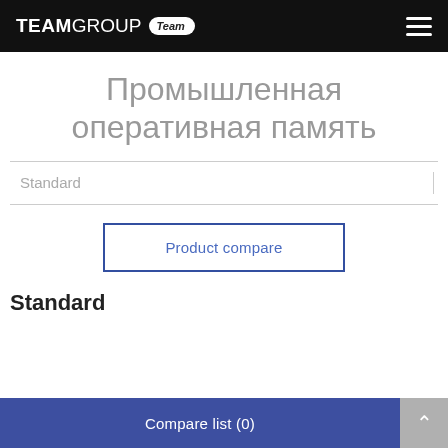TEAMGROUP Team
Промышленная оперативная память
Standard
Product compare
Standard
Compare list (0)